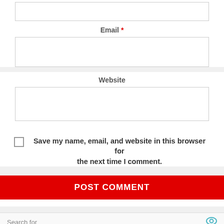[Figure (screenshot): Top partial input box, cropped at top of page]
Email *
[Figure (screenshot): Email input text field, empty]
Website
[Figure (screenshot): Website input text field, empty]
Save my name, email, and website in this browser for the next time I comment.
POST COMMENT
Search for
1  HEALTHIEST DRY DOG FOOD
2  STROM-TARIFE IM VERGLEICH